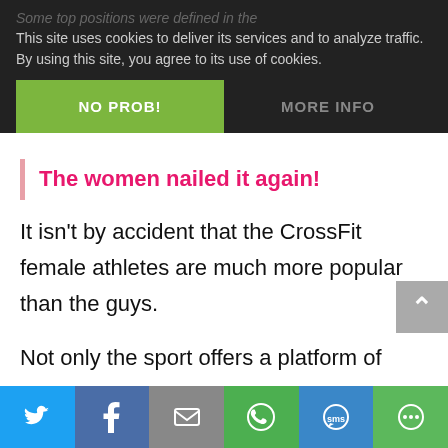Some top positions were defined in the
This site uses cookies to deliver its services and to analyze traffic. By using this site, you agree to its use of cookies.
NO PROB!
MORE INFO
The women nailed it again!
It isn't by accident that the CrossFit female athletes are much more popular than the guys.
Not only the sport offers a platform of equality and inclusion, but they're simply